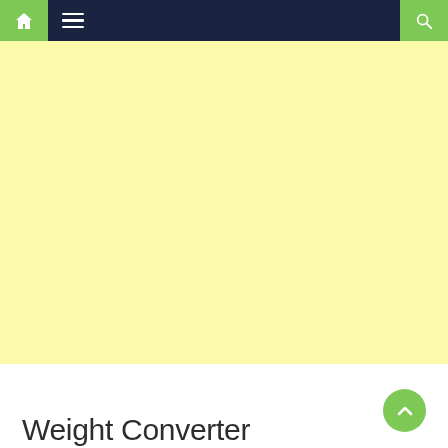Navigation bar with home, menu, and search icons
[Figure (other): Yellow/cream colored advertisement banner area]
Weight Converter